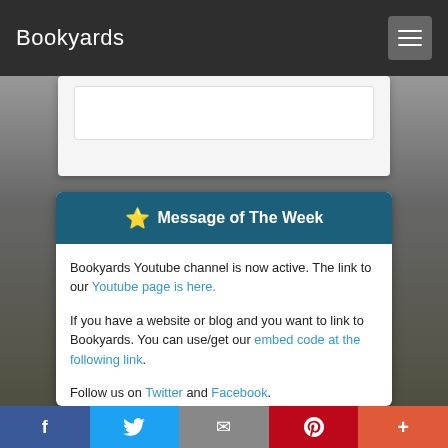Bookyards
⭐ Message of The Week
Bookyards Youtube channel is now active. The link to our Youtube page is here.
If you have a website or blog and you want to link to Bookyards. You can use/get our embed code at the following link.
Follow us on Twitter and Facebook.
Bookyards Facebook, Tumblr, Blog, and Twitter
f  Twitter  mail  P  +